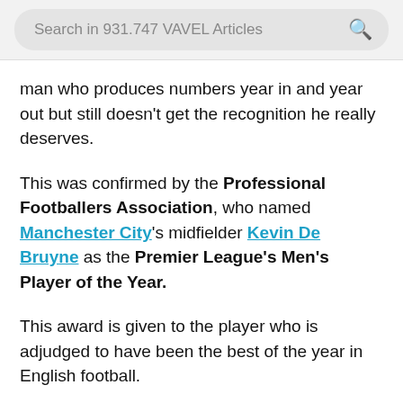Search in 931.747 VAVEL Articles
man who produces numbers year in and year out but still doesn’t get the recognition he really deserves.
This was confirmed by the Professional Footballers Association, who named Manchester City’s midfielder Kevin De Bruyne as the Premier League’s Men’s Player of the Year.
This award is given to the player who is adjudged to have been the best of the year in English football.